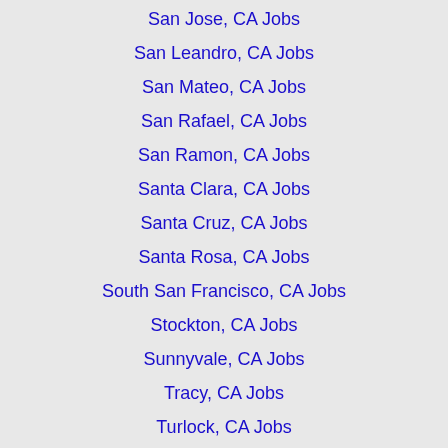San Jose, CA Jobs
San Leandro, CA Jobs
San Mateo, CA Jobs
San Rafael, CA Jobs
San Ramon, CA Jobs
Santa Clara, CA Jobs
Santa Cruz, CA Jobs
Santa Rosa, CA Jobs
South San Francisco, CA Jobs
Stockton, CA Jobs
Sunnyvale, CA Jobs
Tracy, CA Jobs
Turlock, CA Jobs
Vacaville, CA Jobs
Vallejo, CA Jobs
Walnut Creek, CA Jobs
Watsonville, CA Jobs
West Sacramento, CA Jobs